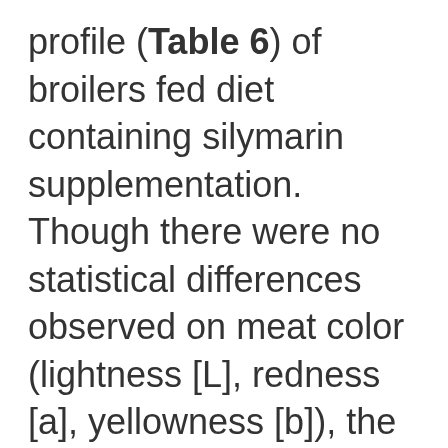profile (Table 6) of broilers fed diet containing silymarin supplementation. Though there were no statistical differences observed on meat color (lightness [L], redness [a], yellowness [b]), the relative weights of organs such as breast muscle, bursa of fabricius were linearly increased